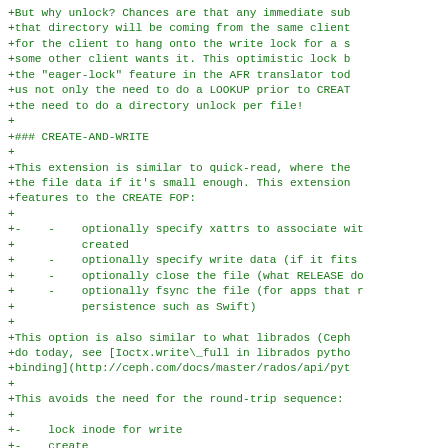+But why unlock? Chances are that any immediate sub
+that directory will be coming from the same client
+for the client to hang onto the write lock for a s
+some other client wants it. This optimistic lock b
+the "eager-lock" feature in the AFR translator tod
+us not only the need to do a LOOKUP prior to CREAT
+the need to do a directory unlock per file!
+
+### CREATE-AND-WRITE
+
+This extension is similar to quick-read, where the
+the file data if it's small enough. This extension
+features to the CREATE FOP:
+
+-    -    optionally specify xattrs to associate wit
+          created
+     -    optionally specify write data (if it fits
+     -    optionally close the file (what RELEASE do
+     -    optionally fsync the file (for apps that r
+          persistence such as Swift)
+
+This option is also similar to what librados (Ceph
+do today, see [Ioctx.write\_full in librados pytho
+binding](http://ceph.com/docs/master/rados/api/pyt
+
+This avoids the need for the round-trip sequence:
+
+-    lock inode for write
+-    create
+-    write